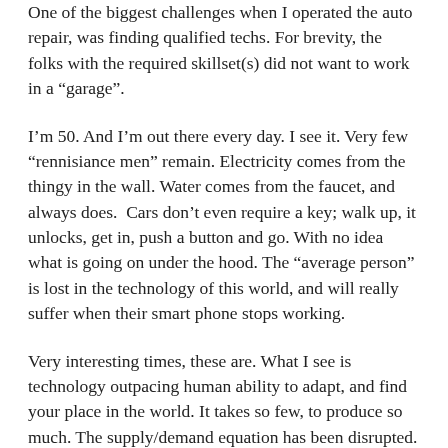One of the biggest challenges when I operated the auto repair, was finding qualified techs. For brevity, the folks with the required skillset(s) did not want to work in a “garage”.
I’m 50. And I’m out there every day. I see it. Very few “rennisiance men” remain. Electricity comes from the thingy in the wall. Water comes from the faucet, and always does. Cars don’t even require a key; walk up, it unlocks, get in, push a button and go. With no idea what is going on under the hood. The “average person” is lost in the technology of this world, and will really suffer when their smart phone stops working.
Very interesting times, these are. What I see is technology outpacing human ability to adapt, and find your place in the world. It takes so few, to produce so much. The supply/demand equation has been disrupted. And with tech